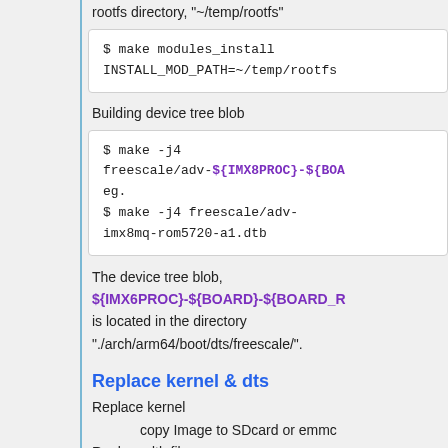rootfs directory, "~/temp/rootfs"
$ make modules_install INSTALL_MOD_PATH=~/temp/rootfs
Building device tree blob
$ make -j4 freescale/adv-${IMX8PROC}-${BOA eg. $ make -j4 freescale/adv-imx8mq-rom5720-a1.dtb
The device tree blob, ${IMX6PROC}-${BOARD}-${BOARD_R is located in the directory "./arch/arm64/boot/dts/freescale/".
Replace kernel & dts
Replace kernel
copy Image to SDcard or emmc
Replace dtb file